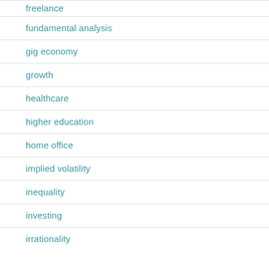freelance
fundamental analysis
gig economy
growth
healthcare
higher education
home office
implied volatility
inequality
investing
irrationality